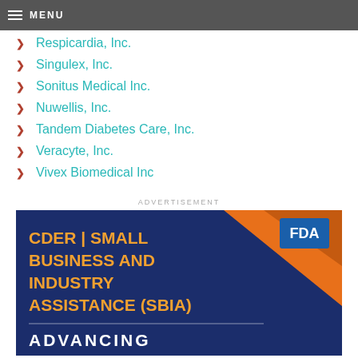MENU
Respicardia, Inc.
Singulex, Inc.
Sonitus Medical Inc.
Nuwellis, Inc.
Tandem Diabetes Care, Inc.
Veracyte, Inc.
Vivex Biomedical Inc
ADVERTISEMENT
[Figure (other): FDA CDER Small Business and Industry Assistance (SBIA) advertisement banner with navy blue background, orange text, orange geometric triangle accent, FDA logo badge, and partial white text reading ADVANCING at bottom]